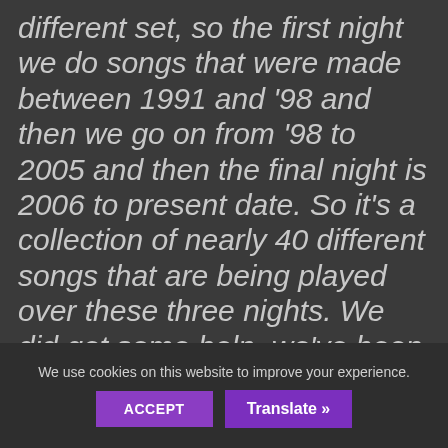different set, so the first night we do songs that were made between 1991 and '98 and then we go on from '98 to 2005 and then the final night is 2006 to present date. So it's a collection of nearly 40 different songs that are being played over these three nights. We did get some help, we've been touring a lot and
We use cookies on this website to improve your experience.
ACCEPT
Translate »